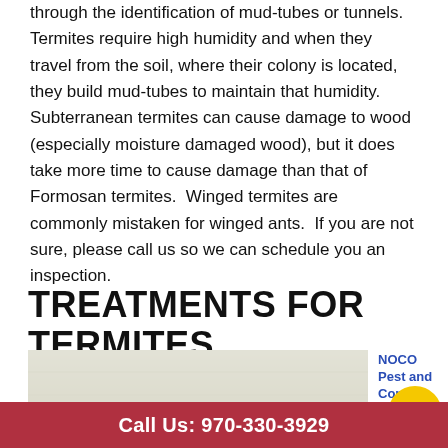through the identification of mud-tubes or tunnels.  Termites require high humidity and when they travel from the soil, where their colony is located, they build mud-tubes to maintain that humidity.  Subterranean termites can cause damage to wood (especially moisture damaged wood), but it does take more time to cause damage than that of Formosan termites.  Winged termites are commonly mistaken for winged ants.  If you are not sure, please call us so we can schedule you an inspection.
TREATMENTS FOR TERMITES
[Figure (photo): Close-up photo of wood/wall surface showing termite mud tube damage — brown mud tube formation visible against weathered white painted wood surface.]
NOCO Pest and Cont...
Call Us: 970-330-3929